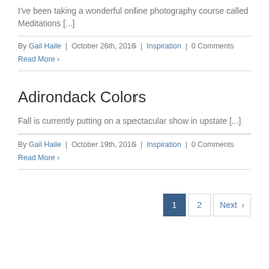I've been taking a wonderful online photography course called Meditations [...]
By Gail Haile | October 26th, 2016 | Inspiration | 0 Comments
Read More ›
Adirondack Colors
Fall is currently putting on a spectacular show in upstate [...]
By Gail Haile | October 19th, 2016 | Inspiration | 0 Comments
Read More ›
1  2  Next ›